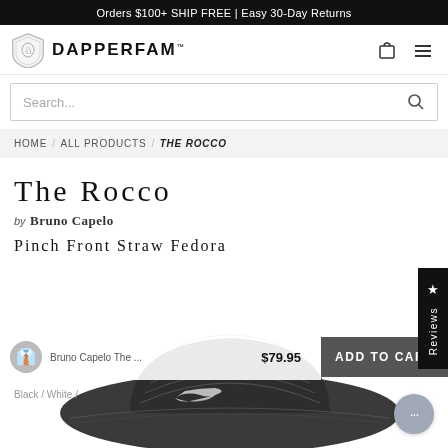Orders $100+ SHIP FREE | Easy 30-Day Returns
[Figure (logo): DapperFam logo with shield emblem and brand name DAPPERFAM]
Search...
HOME / ALL PRODUCTS / THE ROCCO
The Rocco
by Bruno Capelo
Pinch Front Straw Fedora
Reviews
Bruno Capelo The ... $79.95
ADD TO CART
Black / White /
[Figure (photo): Bottom portion of a dark straw fedora hat with pinch front, shown from above at an angle]